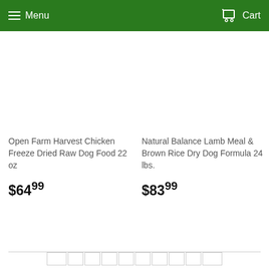Menu   Cart
Open Farm Harvest Chicken Freeze Dried Raw Dog Food 22 oz
$64.99
Natural Balance Lamb Meal & Brown Rice Dry Dog Formula 24 lbs.
$83.99